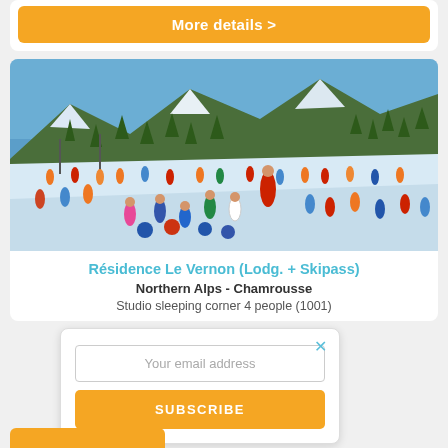More details >
[Figure (photo): Ski slope with ski instructor in red jacket teaching children to ski, snowy mountain landscape with pine trees and blue sky in background, large group of people on the snow]
Résidence Le Vernon (Lodg. + Skipass)
Northern Alps - Chamrousse
Studio sleeping corner 4 people (1001)
Your email address
SUBSCRIBE